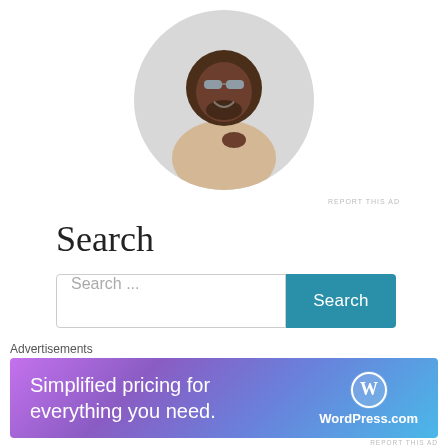[Figure (photo): Circular profile photo of a smiling man wearing glasses and a beige t-shirt, sitting at a desk with hand on chin]
REPORT THIS AD
Search
Search ...
Search
Recent Posts: Divva's
Advertisements
[Figure (infographic): WordPress.com advertisement banner: 'Simplified pricing for everything you need.' with WordPress.com logo on gradient purple-blue background]